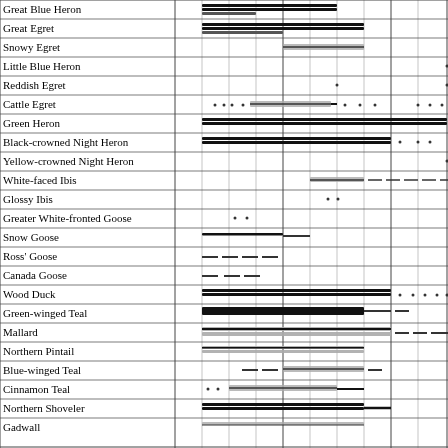| Species | Col1 | Col2 | Col3 | Col4 | Col5 | Col6 | Col7 | Col8 | Col9 | Col10 | Col11 | Col12 |
| --- | --- | --- | --- | --- | --- | --- | --- | --- | --- | --- | --- | --- |
| Great Blue Heron |  |  |  |  |  |  |  |  |  |  |  |  |
| Great Egret |  |  |  |  |  |  |  |  |  |  |  |  |
| Snowy Egret |  |  |  |  |  |  |  |  |  |  |  |  |
| Little Blue Heron |  |  |  |  |  |  |  |  |  |  |  |  |
| Reddish Egret |  |  |  |  |  |  |  |  |  |  |  |  |
| Cattle Egret |  |  |  |  |  |  |  |  |  |  |  |  |
| Green Heron |  |  |  |  |  |  |  |  |  |  |  |  |
| Black-crowned Night Heron |  |  |  |  |  |  |  |  |  |  |  |  |
| Yellow-crowned Night Heron |  |  |  |  |  |  |  |  |  |  |  |  |
| White-faced Ibis |  |  |  |  |  |  |  |  |  |  |  |  |
| Glossy Ibis |  |  |  |  |  |  |  |  |  |  |  |  |
| Greater White-fronted Goose |  |  |  |  |  |  |  |  |  |  |  |  |
| Snow Goose |  |  |  |  |  |  |  |  |  |  |  |  |
| Ross' Goose |  |  |  |  |  |  |  |  |  |  |  |  |
| Canada Goose |  |  |  |  |  |  |  |  |  |  |  |  |
| Wood Duck |  |  |  |  |  |  |  |  |  |  |  |  |
| Green-winged Teal |  |  |  |  |  |  |  |  |  |  |  |  |
| Mallard |  |  |  |  |  |  |  |  |  |  |  |  |
| Northern Pintail |  |  |  |  |  |  |  |  |  |  |  |  |
| Blue-winged Teal |  |  |  |  |  |  |  |  |  |  |  |  |
| Cinnamon Teal |  |  |  |  |  |  |  |  |  |  |  |  |
| Northern Shoveler |  |  |  |  |  |  |  |  |  |  |  |  |
| Gadwall |  |  |  |  |  |  |  |  |  |  |  |  |